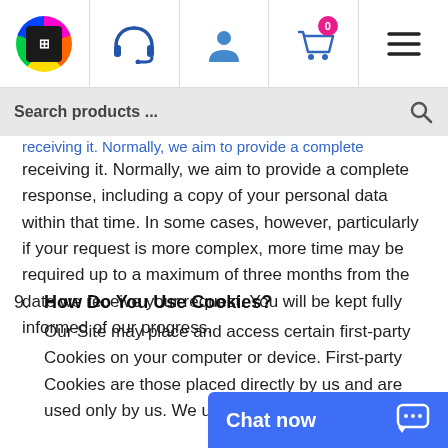[Figure (screenshot): Website navigation bar with logo, headset icon, user icon, shopping cart with 0 badge, and hamburger menu icon]
[Figure (screenshot): Search bar with text 'Search products ...' and magnifying glass icon]
receiving it. Normally, we aim to provide a complete response, including a copy of your personal data within that time. In some cases, however, particularly if your request is more complex, more time may be required up to a maximum of three months from the date we receive your request. You will be kept fully informed of our progress.
9. How Do You Use Cookies? Our Site may place and access certain first-party Cookies on your computer or device. First-party Cookies are those placed directly by us and are used only by us. We use your experience of
[Figure (screenshot): Chat now button overlay at the bottom right]